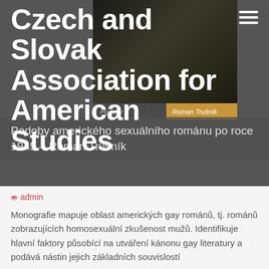Czech and Slovak Association for American Studies
Podoby amerického sexuálního románu po roce 1945 – Roman Trušník
admin
Monografie mapuje oblast amerických gay románů, tj. románů zobrazujících homosexuální zkušenost mužů. Identifikuje hlavní faktory působící na utváření kánonu gay literatury a podává nástin jejich základních souvislostí